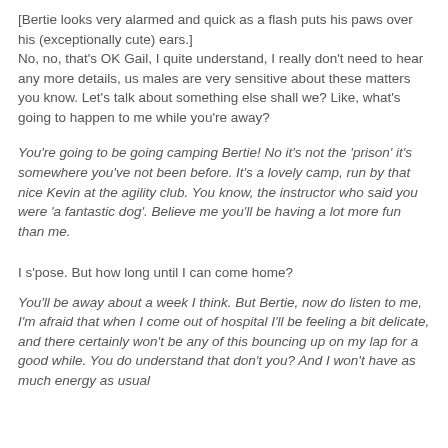[Bertie looks very alarmed and quick as a flash puts his paws over his (exceptionally cute) ears.]
No, no, that's OK Gail, I quite understand, I really don't need to hear any more details, us males are very sensitive about these matters you know. Let's talk about something else shall we? Like, what's going to happen to me while you're away?
You're going to be going camping Bertie! No it's not the 'prison' it's somewhere you've not been before. It's a lovely camp, run by that nice Kevin at the agility club. You know, the instructor who said you were 'a fantastic dog'. Believe me you'll be having a lot more fun than me.
I s'pose. But how long until I can come home?
You'll be away about a week I think. But Bertie, now do listen to me, I'm afraid that when I come out of hospital I'll be feeling a bit delicate, and there certainly won't be any of this bouncing up on my lap for a good while. You do understand that don't you? And I won't have as much energy as usual